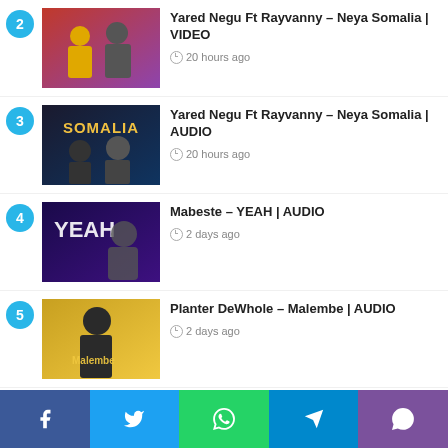Yared Negu Ft Rayvanny – Neya Somalia | VIDEO · 20 hours ago
Yared Negu Ft Rayvanny – Neya Somalia | AUDIO · 20 hours ago
Mabeste – YEAH | AUDIO · 2 days ago
Planter DeWhole – Malembe | AUDIO · 2 days ago